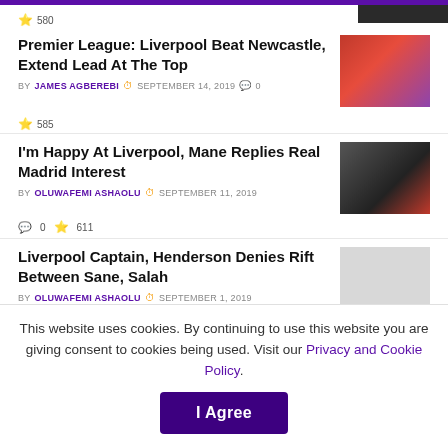⭐ 580
Premier League: Liverpool Beat Newcastle, Extend Lead At The Top
BY JAMES AGBEREBI  🕐 SEPTEMBER 14, 2019  💬 0
⭐ 585
I'm Happy At Liverpool, Mane Replies Real Madrid Interest
BY OLUWAFEMI ASHAOLU  🕐 SEPTEMBER 11, 2019
💬 0  ⭐ 611
Liverpool Captain, Henderson Denies Rift Between Sane, Salah
BY OLUWAFEMI ASHAOLU  🕐 SEPTEMBER 1, 2019
This website uses cookies. By continuing to use this website you are giving consent to cookies being used. Visit our Privacy and Cookie Policy.  I Agree